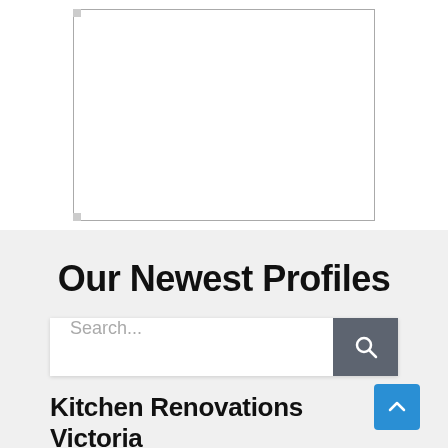[Figure (other): Empty white text input box with thin gray border and small corner markers]
Our Newest Profiles
[Figure (other): Search bar with white input field showing placeholder text 'Search...' and a dark gray button with magnifying glass icon on the right]
[Figure (other): Blue scroll-to-top button with upward chevron arrow]
Kitchen Renovations Victoria